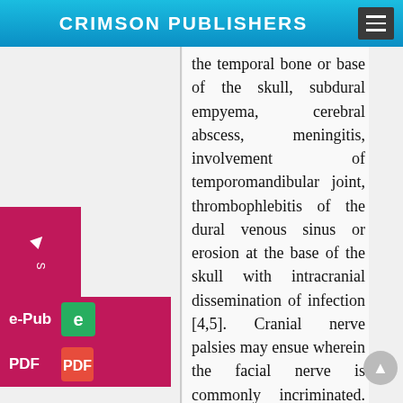CRIMSON PUBLISHERS
the temporal bone or base of the skull, subdural empyema, cerebral abscess, meningitis, involvement of temporomandibular joint, thrombophlebitis of the dural venous sinus or erosion at the base of the skull with intracranial dissemination of infection [4,5]. Cranial nerve palsies may ensue wherein the facial nerve is commonly incriminated. Cranial nerves such as facial (VII) nerve, glossopharyngeal (IX) nerve, vagus (X) nerve and accessory (XI) nerve are commonly implicated, whereas the hypoglossal (XII) nerve is exceptionally involved [4,5]. Malignant otitis externa may